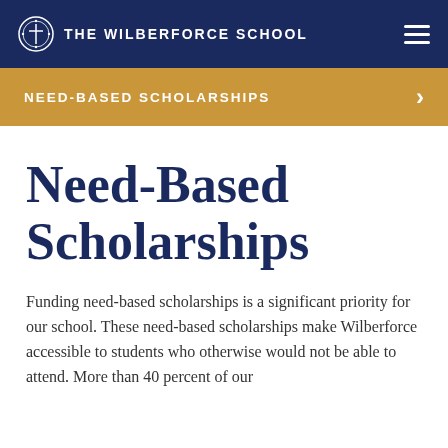The Wilberforce School
NEED-BASED SCHOLARSHIPS
Need-Based Scholarships
Funding need-based scholarships is a significant priority for our school. These need-based scholarships make Wilberforce accessible to students who otherwise would not be able to attend. More than 40 percent of our